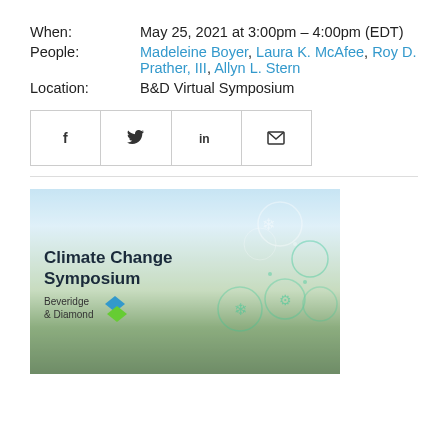When: May 25, 2021 at 3:00pm – 4:00pm (EDT)
People: Madeleine Boyer, Laura K. McAfee, Roy D. Prather, III, Allyn L. Stern
Location: B&D Virtual Symposium
[Figure (infographic): Social share buttons row: Facebook (f), Twitter (bird), LinkedIn (in), Email (envelope icon)]
[Figure (illustration): Climate Change Symposium promotional banner image showing mountain landscape with technology overlay icons, Beveridge & Diamond logo in lower left]